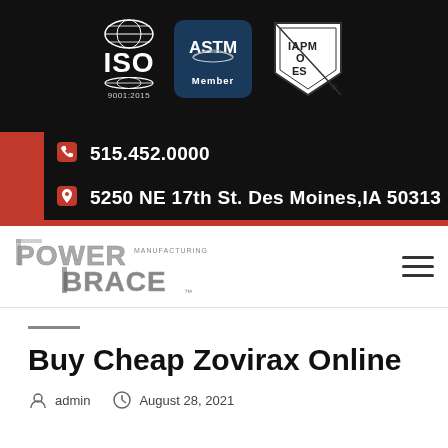[Figure (logo): Header with ISO 9001:2015, ASTM Member, and IAPMO ES certification logos on black background]
515.452.0000
5250 NE 17th St. Des Moines,IA 50313
[Figure (logo): Power Brace Manufacturing logo in navigation bar]
Buy Cheap Zovirax Online
admin   August 28, 2021